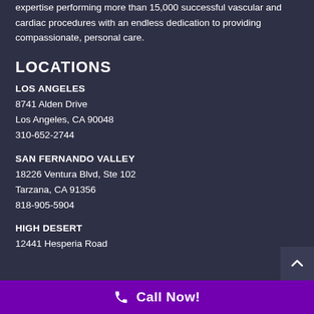expertise performing more than 15,000 successful vascular and cardiac procedures with an endless dedication to providing compassionate, personal care.
LOCATIONS
LOS ANGELES
8741 Alden Drive
Los Angeles, CA 90048
310-652-2744
SAN FERNANDO VALLEY
18226 Ventura Blvd, Ste 102
Tarzana, CA 91356
818-905-5904
HIGH DESERT
12441 Hesperia Road
Call Now!